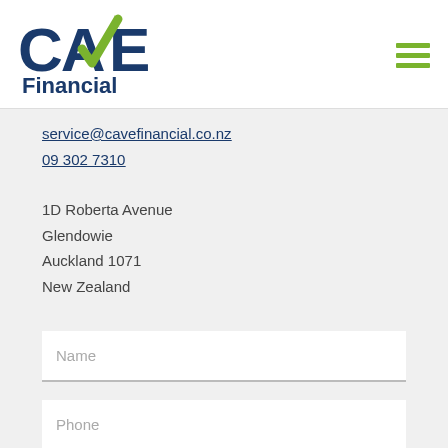[Figure (logo): CAVE Financial logo with green checkmark arrow and dark blue text]
service@cavefinancial.co.nz
09 302 7310
1D Roberta Avenue
Glendowie
Auckland 1071
New Zealand
Name
Phone